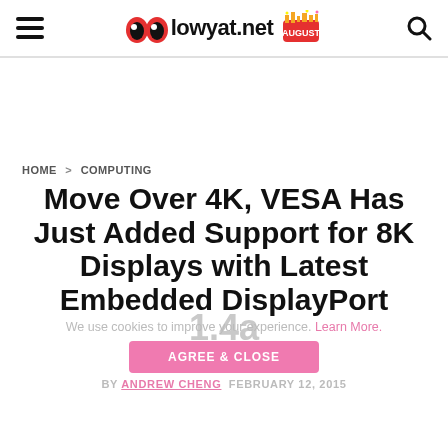lowyat.net
[Figure (other): Advertisement / blank space]
HOME > COMPUTING
Move Over 4K, VESA Has Just Added Support for 8K Displays with Latest Embedded DisplayPort 1.4a
We use cookies to improve your experience. Learn More. AGREE & CLOSE
BY ANDREW CHENG  FEBRUARY 12, 2015